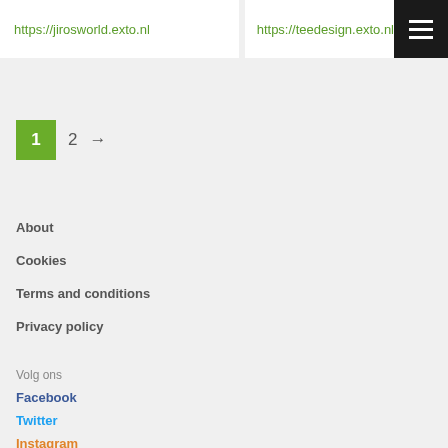https://jirosworld.exto.nl
https://teedesign.exto.nl
1  2  →
About
Cookies
Terms and conditions
Privacy policy
Volg ons
Facebook
Twitter
Instagram